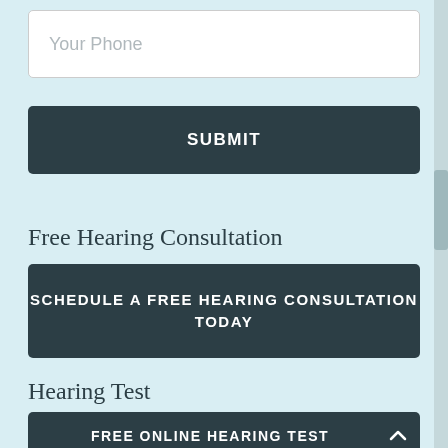Your Phone
SUBMIT
Free Hearing Consultation
SCHEDULE A FREE HEARING CONSULTATION TODAY
Hearing Test
FREE ONLINE HEARING TEST